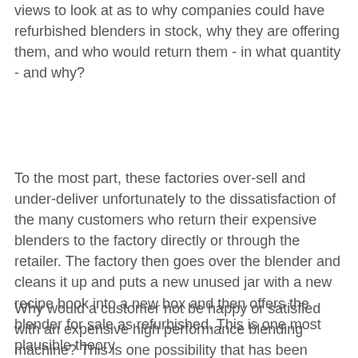views to look at as to why companies could have refurbished blenders in stock, why they are offering them, and who would return them - in what quantity - and why?
To the most part, these factories over-sell and under-deliver unfortunately to the dissatisfaction of the many customers who return their expensive blenders to the factory directly or through the retailer. The factory then goes over the blender and cleans it up and puts a new unused jar with a new recipe book into a new box and then offers the blender for sale as refurbished. This is one most plausible theory.
Why would a customer not be happy or satisfied with an expensive high performance blending machine? This is one possibility that has been found at Costco and at Sams Club. The consumer sees and tastes a fine magical smoothie during a demo show. The blender